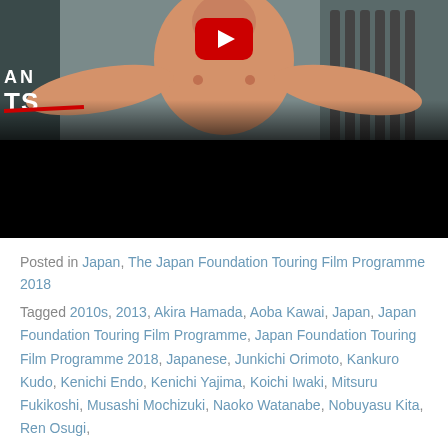[Figure (screenshot): YouTube video thumbnail showing a shirtless man with arms outstretched and mouth open, with a large red YouTube play button in the center. Partial text overlay shows 'AN' and 'TS' with a red diagonal strike. Lower portion is black.]
Posted in Japan, The Japan Foundation Touring Film Programme 2018
Tagged 2010s, 2013, Akira Hamada, Aoba Kawai, Japan, Japan Foundation Touring Film Programme, Japan Foundation Touring Film Programme 2018, Japanese, Junkichi Orimoto, Kankuro Kudo, Kenichi Endo, Kenichi Yajima, Koichi Iwaki, Mitsuru Fukikoshi, Musashi Mochizuki, Naoko Watanabe, Nobuyasu Kita, Ren Osugi,